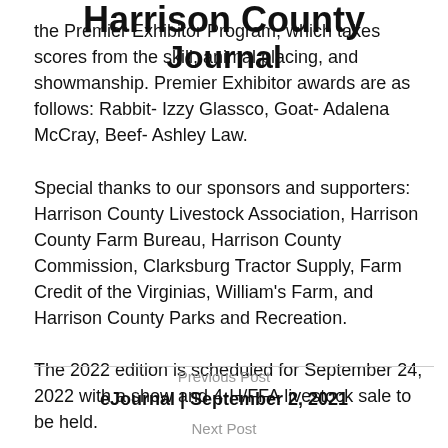Harrison County Journal
the Premier Exhibitor Program, which takes scores from the skill, animal placing, and showmanship. Premier Exhibitor awards are as follows: Rabbit- Izzy Glassco, Goat- Adalena McCray, Beef- Ashley Law.
Special thanks to our sponsors and supporters: Harrison County Livestock Association, Harrison County Farm Bureau, Harrison County Commission, Clarksburg Tractor Supply, Farm Credit of the Virginias, William's Farm, and Harrison County Parks and Recreation.
The 2022 edition is scheduled for September 24, 2022 with a show and 4-H/FFA livestock sale to be held.
Previous Post
eJournal | September 2, 2021
Next Post